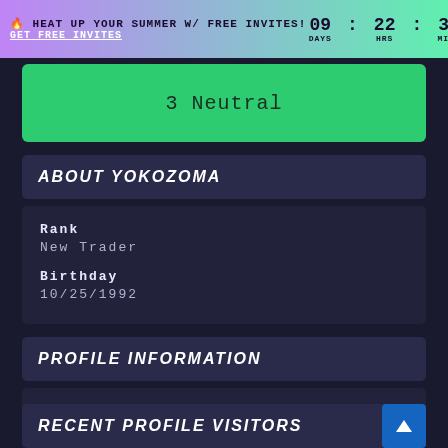🔥 HEAT UP YOUR SUMMER W/ FREE INVITES! GET FREE INVITES 09 : 22 : 39 : 27 DAYS HRS MINS SECS
3 Neutral
ABOUT YOKOZOMA
Rank
New Trader

Birthday
10/25/1992
PROFILE INFORMATION
Gender
Male
RECENT PROFILE VISITORS